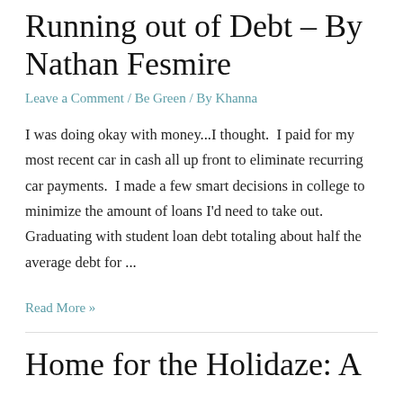Running out of Debt – By Nathan Fesmire
Leave a Comment / Be Green / By Khanna
I was doing okay with money...I thought.  I paid for my most recent car in cash all up front to eliminate recurring car payments.  I made a few smart decisions in college to minimize the amount of loans I'd need to take out.  Graduating with student loan debt totaling about half the average debt for ...
Read More »
Home for the Holidaze: A